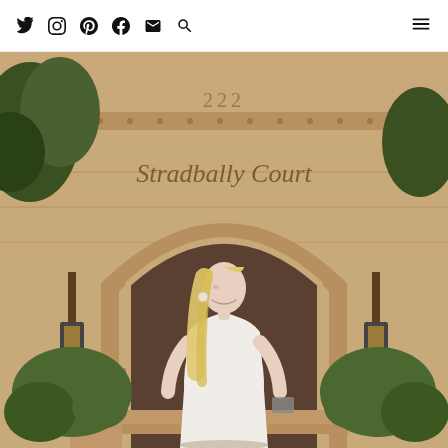Social media navigation bar with Twitter, Instagram, Pinterest, Facebook, Email, Search icons and hamburger menu
[Figure (photo): A blonde woman in a white sleeveless dress standing in front of the entrance of 'Stradbally Court', a grand stone building with arched doorway, ornate facade, number 222, decorative lanterns, and manicured hedges.]